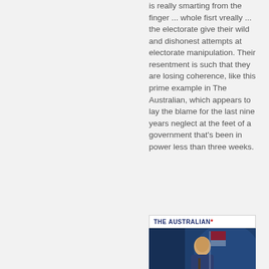is really smarting from the finger ... whole fisrt vreally ... the electorate give their wild and dishonest attempts at electorate manipulation. Their resentment is such that they are losing coherence, like this prime example in The Australian, which appears to lay the blame for the last nine years neglect at the feet of a government that's been in power less than three weeks.
[Figure (screenshot): Screenshot of The Australian newspaper branding header with logo text 'THE AUSTRALIAN*' in navy blue with a red asterisk, followed by a photo of a person in front of a dark blue background with flags]